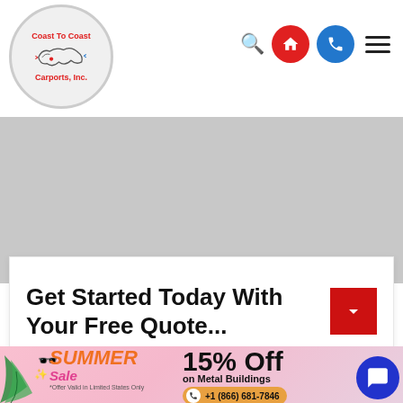[Figure (logo): Coast To Coast Carports, Inc. logo — circular badge with red text and US map outline]
[Figure (infographic): Navigation icons: search magnifier, red home button, blue phone button, hamburger menu]
[Figure (photo): Gray placeholder advertisement area]
Get Started Today With Your Free Quote...
[Figure (infographic): Summer Sale banner: SUMMER Sale, 15% Off on Metal Buildings, *Offer Valid in Limited States Only, phone number +1 (866) 681-7846, chat bubble icon]